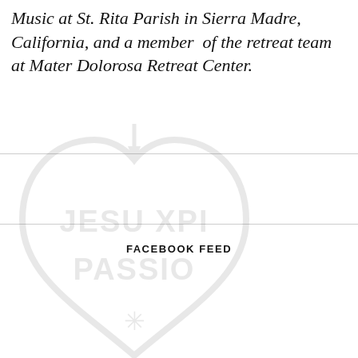Music at St. Rita Parish in Sierra Madre, California, and a member of the retreat team at Mater Dolorosa Retreat Center.
[Figure (illustration): Faded watermark of a heart-shaped emblem with the text 'JESU XPI' and 'PASSIO' inscribed inside, along with a decorative cross and star symbol at the bottom, representing a Passionist religious logo.]
FACEBOOK FEED